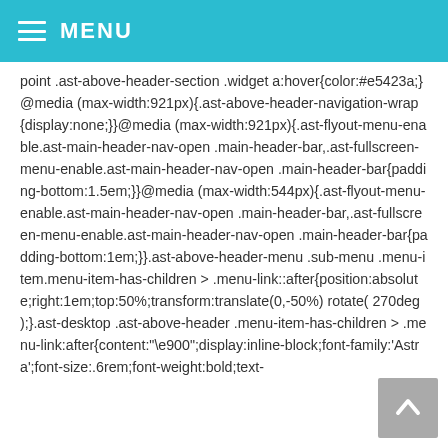MENU
point .ast-above-header-section .widget a:hover{color:#e5423a;}@media (max-width:921px){.ast-above-header-navigation-wrap{display:none;}}@media (max-width:921px){.ast-flyout-menu-enable.ast-main-header-nav-open .main-header-bar,.ast-fullscreen-menu-enable.ast-main-header-nav-open .main-header-bar{padding-bottom:1.5em;}}@media (max-width:544px){.ast-flyout-menu-enable.ast-main-header-nav-open .main-header-bar,.ast-fullscreen-menu-enable.ast-main-header-nav-open .main-header-bar{padding-bottom:1em;}}.ast-above-header-menu .sub-menu .menu-item.menu-item-has-children > .menu-link::after{position:absolute;right:1em;top:50%;transform:translate(0,-50%) rotate( 270deg );}.ast-desktop .ast-above-header .menu-item-has-children > .menu-link:after{content:"\e900";display:inline-block;font-family:'Astra';font-size:.6rem;font-weight:bold;text-